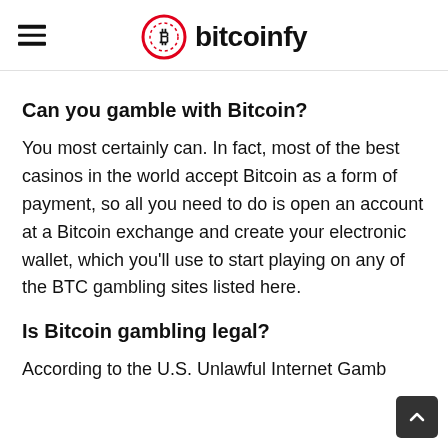bitcoinfy
Can you gamble with Bitcoin?
You most certainly can. In fact, most of the best casinos in the world accept Bitcoin as a form of payment, so all you need to do is open an account at a Bitcoin exchange and create your electronic wallet, which you’ll use to start playing on any of the BTC gambling sites listed here.
Is Bitcoin gambling legal?
According to the U.S. Unlawful Internet Gamb